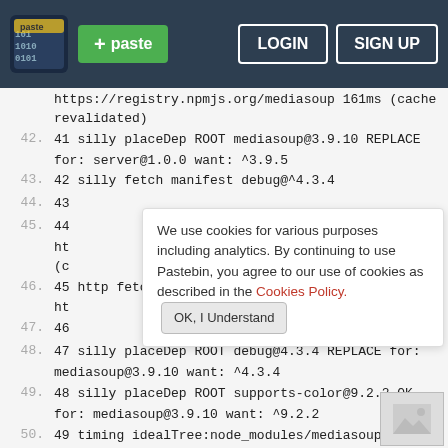Pastebin navigation bar with logo, + paste button, LOGIN and SIGN UP buttons
https://registry.npmjs.org/mediasoup 161ms (cache revalidated)
42. 41 silly placeDep ROOT mediasoup@3.9.10 REPLACE for: server@1.0.0 want: ^3.9.5
43. 42 silly fetch manifest debug@^4.3.4
44. 43
45. 44 ht (c
46. 45 http fetch GET 200
47. 46
48. 47 silly placeDep ROOT debug@4.3.4 REPLACE for: mediasoup@3.9.10 want: ^4.3.4
49. 48 silly placeDep ROOT supports-color@9.2.2 OK for: mediasoup@3.9.10 want: ^9.2.2
50. 49 timing idealTree:node_modules/mediasoup
We use cookies for various purposes including analytics. By continuing to use Pastebin, you agree to our use of cookies as described in the Cookies Policy. OK, I Understand
Not a member of Pastebin yet? Sign Up, it unlocks many cool features!